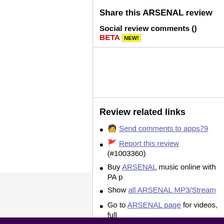Share this ARSENAL review
Social review comments () BETA NEW!
Review related links
Send comments to apps79
Report this review (#1003360)
Buy ARSENAL music online with PA p
Show all ARSENAL MP3/Stream
Go to ARSENAL page for videos, full
Go to Своими руками / Created Wi and ratings/reviews
Search the Forum for ARSENAL relat